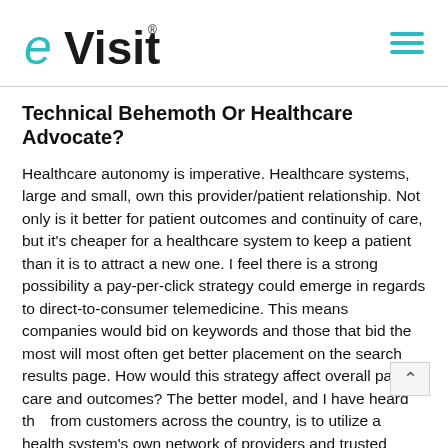eVisit
Technical Behemoth Or Healthcare Advocate?
Healthcare autonomy is imperative. Healthcare systems, large and small, own this provider/patient relationship. Not only is it better for patient outcomes and continuity of care, but it's cheaper for a healthcare system to keep a patient than it is to attract a new one. I feel there is a strong possibility a pay-per-click strategy could emerge in regards to direct-to-consumer telemedicine. This means companies would bid on keywords and those that bid the most will most often get better placement on the search results page. How would this strategy affect overall patient care and outcomes? The better model, and I have heard this from customers across the country, is to utilize a health system's own network of providers and trusted patient/provider relationship to provide care for its